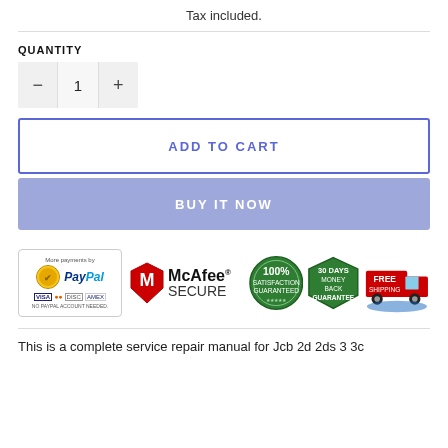Tax included.
QUANTITY
[Figure (infographic): Quantity selector with minus, 1, plus buttons]
ADD TO CART
BUY IT NOW
[Figure (infographic): Trust badges: PayPal, McAfee Secure, 100% Satisfaction Guarantee, 30 Days Money Back Guarantee, Free Shipping]
This is a complete service repair manual for Jcb 2d 2ds 3 3c